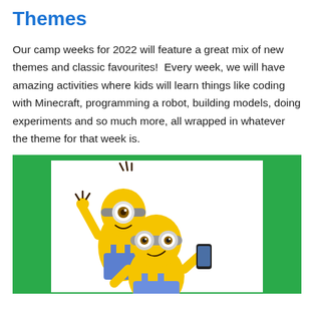Themes
Our camp weeks for 2022 will feature a great mix of new themes and classic favourites!  Every week, we will have amazing activities where kids will learn things like coding with Minecraft, programming a robot, building models, doing experiments and so much more, all wrapped in whatever the theme for that week is.
[Figure (illustration): Three cartoon Minion characters (yellow, goggle-wearing figures in blue overalls) posing together on a green background. One is taking a selfie with a phone, another is waving, and a third is in front.]